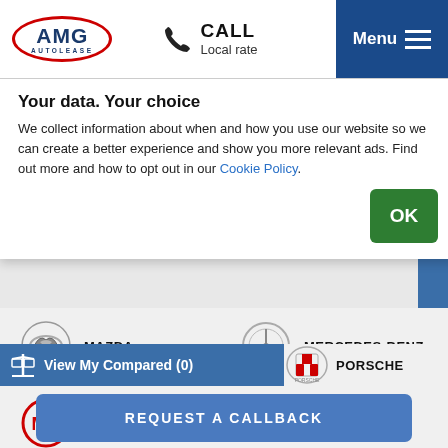[Figure (logo): AMG Autolease logo in red oval with dark blue text]
CALL Local rate
Menu
Your data. Your choice
We collect information about when and how you use our website so we can create a better experience and show you more relevant ads. Find out more and how to opt out in our Cookie Policy.
MAZDA
MERCEDES-BENZ
MG MOTOR UK
MINI
MITSUBISHI
NISSAN
PORSCHE
View My Compared (0)
REQUEST A CALLBACK